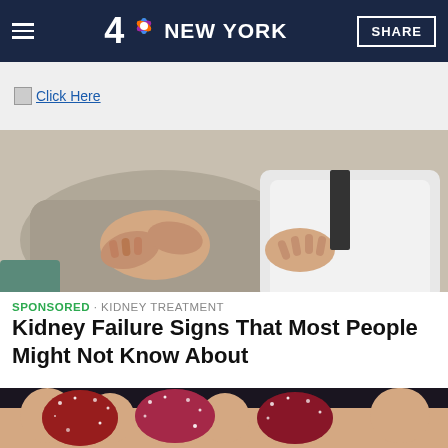NBC 4 NEW YORK | SHARE
Click Here
[Figure (photo): A doctor pressing on a patient's abdomen in a clinical setting]
SPONSORED · KIDNEY TREATMENT
Kidney Failure Signs That Most People Might Not Know About
[Figure (photo): Close-up of sugary gummy candies held in someone's fingers]